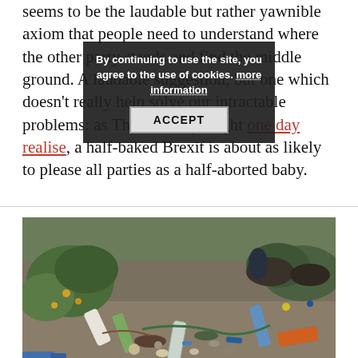seems to be the laudable but rather yawnible axiom that people need to understand where the other party stands and find the middle ground. A laudable suggestion, but one which doesn't really help solve our intractable problems: as Theresa May might one day realise, a half-baked Brexit is about as likely to please all parties as a half-aborted baby.
[Figure (photo): Photograph of plastic bottles and various litter scattered on a beach or sandy ground with green vegetation in the background.]